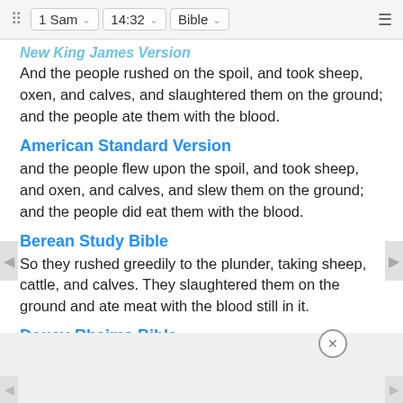1 Sam  14:32  Bible
New King James Version
And the people rushed on the spoil, and took sheep, oxen, and calves, and slaughtered them on the ground; and the people ate them with the blood.
American Standard Version
and the people flew upon the spoil, and took sheep, and oxen, and calves, and slew them on the ground; and the people did eat them with the blood.
Berean Study Bible
So they rushed greedily to the plunder, taking sheep, cattle, and calves. They slaughtered them on the ground and ate meat with the blood still in it.
Douay-Rheims Bible
And falling upon the spoils, they took sheep, and oxen, and the pe...